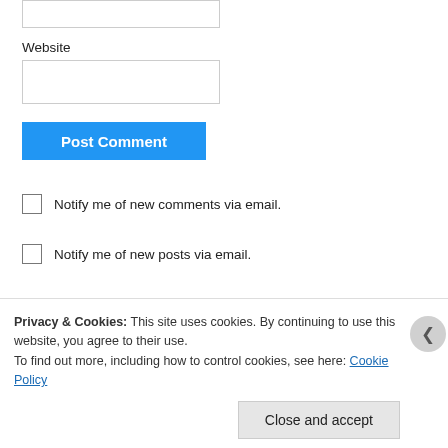Website
[Figure (screenshot): Website input text field (empty white box with border)]
[Figure (screenshot): Post Comment button (blue button with white bold text)]
Notify me of new comments via email.
Notify me of new posts via email.
FOLLOW BLOG VIA EMAIL
Privacy & Cookies: This site uses cookies. By continuing to use this website, you agree to their use.
To find out more, including how to control cookies, see here: Cookie Policy
[Figure (screenshot): Close and accept button]